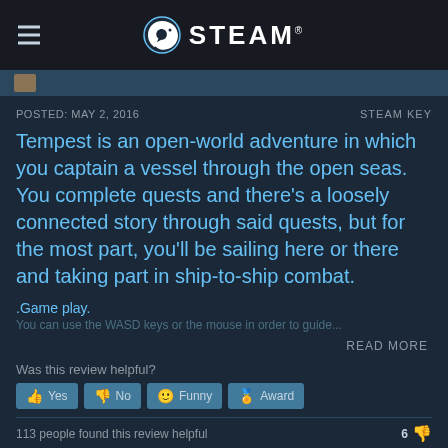STEAM
POSTED: MAY 2, 2016    STEAM KEY
Tempest is an open-world adventure in which you captain a vessel through the open seas. You complete quests and there's a loosely connected story through said quests, but for the most part, you'll be sailing here or there and taking part in ship-to-ship combat.
.Game play.
You can use the WASD keys or the mouse in order to guide...
READ MORE
Was this review helpful?
Yes  No  Funny  Award
113 people found this review helpful